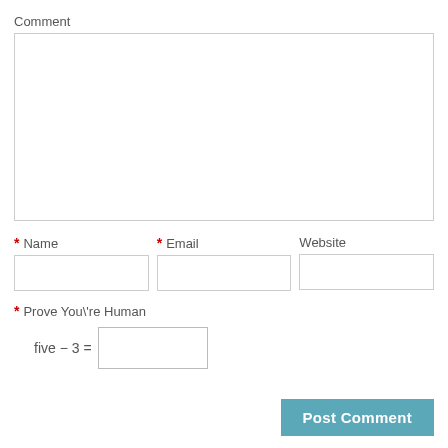Comment
[Figure (other): Large empty comment textarea input box]
* Name
* Email
Website
[Figure (other): Name input field]
[Figure (other): Email input field]
[Figure (other): Website input field]
* Prove You\'re Human
five − 3 =
[Figure (other): Math answer input field]
Post Comment